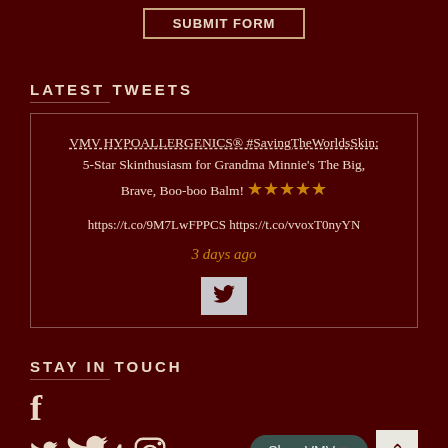SUBMIT FORM
LATEST TWEETS
VMV HYPOALLERGENICS® #SavingTheWorldsSkin: 5-Star Skinthusiasm for Grandma Minnie's The Big, Brave, Boo-boo Balm! ★★★★★ https://t.co/9M7LwFPPCS https://t.co/vvoxT0nyYN
3 days ago
STAY IN TOUCH
[Figure (illustration): Social media icons: Facebook, Twitter, Tumblr, Instagram]
Shop VMV
^